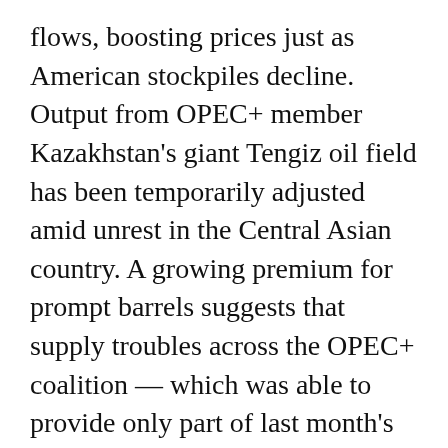flows, boosting prices just as American stockpiles decline. Output from OPEC+ member Kazakhstan's giant Tengiz oil field has been temporarily adjusted amid unrest in the Central Asian country. A growing premium for prompt barrels suggests that supply troubles across the OPEC+ coalition — which was able to provide only part of last month's planned production increase — are delaying the onset of an anticipated oversupply in global markets.
Real-time transportation data globally suggests that worldwide there has not been any significant impact on oil demand so far from